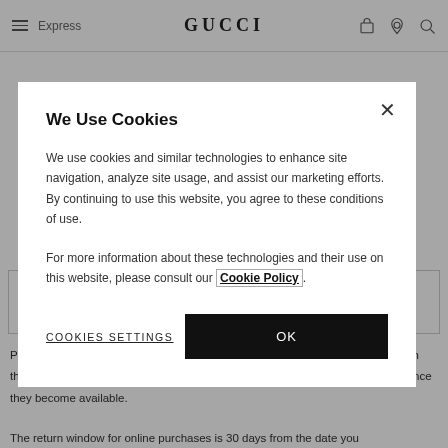GUCCI
We Use Cookies
We use cookies and similar technologies to enhance site navigation, analyze site usage, and assist our marketing efforts. By continuing to use this website, you agree to these conditions of use.
For more information about these technologies and their use on this website, please consult our Cookie Policy.
COOKIES SETTINGS
OK
Pre-order, Made to Order and DIY items will ship on the estimated date noted on the product description page. These items will ship through Premium Express once they become available.
The return window for online purchases is 30 days from the date you